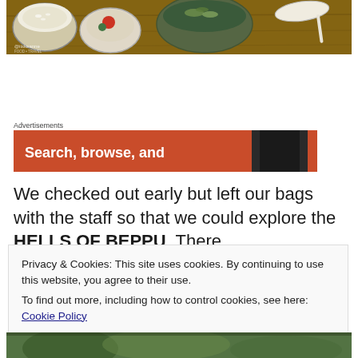[Figure (photo): Top portion of a Japanese meal spread on a wooden table showing bowls of rice, soup, and a white ceramic spoon. Watermark reads @itskeanne.]
Advertisements
[Figure (screenshot): Orange advertisement banner with white bold text reading 'Search, browse, and' with a dark smartphone graphic on the right side.]
We checked out early but left our bags with the staff so that we could explore the HELLS OF BEPPU. There
Privacy & Cookies: This site uses cookies. By continuing to use this website, you agree to their use.
To find out more, including how to control cookies, see here: Cookie Policy
Close and accept
[Figure (photo): Bottom strip of a photo showing lush green garden or outdoor scenery.]